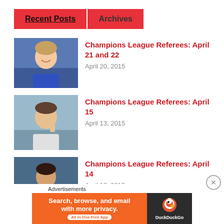Recent Posts | Archives
[Figure (photo): Smiling soccer player in blue jersey]
Champions League Referees: April 21 and 22
April 20, 2015
[Figure (photo): Referee making gesture at camera]
Champions League Referees: April 15
April 13, 2015
[Figure (photo): Referee in yellow jersey with finger to lips]
Champions League Referees: April 14
April 12, 2015
Advertisements
[Figure (screenshot): DuckDuckGo advertisement banner: Search, browse, and email with more privacy. All in One Free App.]